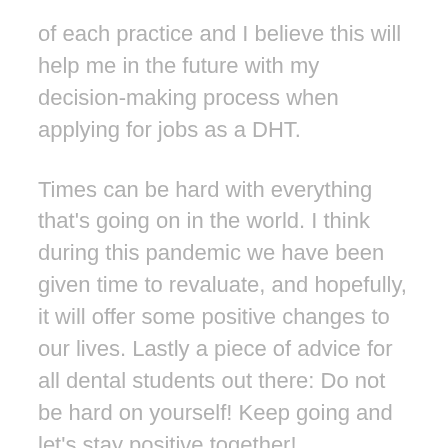of each practice and I believe this will help me in the future with my decision-making process when applying for jobs as a DHT.
Times can be hard with everything that's going on in the world. I think during this pandemic we have been given time to revaluate, and hopefully, it will offer some positive changes to our lives. Lastly a piece of advice for all dental students out there: Do not be hard on yourself! Keep going and let's stay positive together!